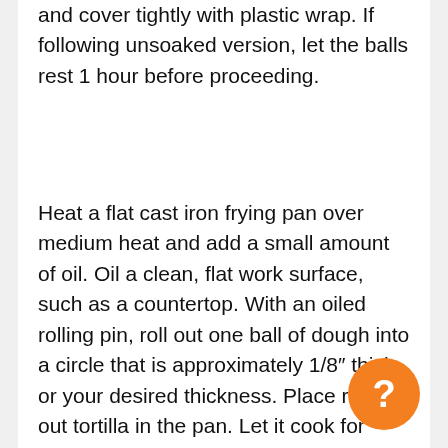and cover tightly with plastic wrap. If following unsoaked version, let the balls rest 1 hour before proceeding.
Heat a flat cast iron frying pan over medium heat and add a small amount of oil. Oil a clean, flat work surface, such as a countertop. With an oiled rolling pin, roll out one ball of dough into a circle that is approximately 1/8" thick, or your desired thickness. Place rolled out tortilla in the pan. Let it cook for about 25 seconds or until there are several bubbles in the dough. Flip the tortilla with a spatula and cook the other side for another 15 to 25 seconds, or until the bubbles are browned*. Remove tortilla from pan and place between towels to stay warm and moist. Meanwhile, roll out the next tortilla. Repeat until all of the balls